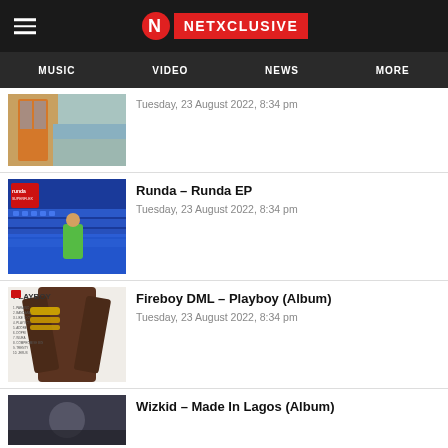NETXCLUSIVE — MUSIC | VIDEO | NEWS | MORE
Tuesday, 23 August 2022, 8:34 pm
Runda – Runda EP
Tuesday, 23 August 2022, 8:34 pm
Fireboy DML – Playboy (Album)
Tuesday, 23 August 2022, 8:34 pm
Wizkid – Made In Lagos (Album)